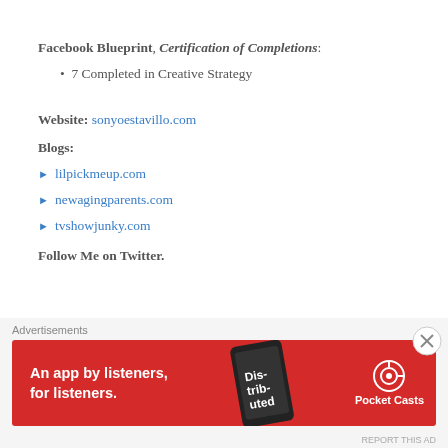Facebook Blueprint, Certification of Completions:
7 Completed in Creative Strategy
Website: sonyoestavillo.com
Blogs:
lilpickmeup.com
newagingparents.com
tvshowjunky.com
Follow Me on Twitter.
[Figure (screenshot): Advertisement banner for Pocket Casts app — red background with text 'An app by listeners, for listeners.' and Pocket Casts logo on the right, phone image in center-right.]